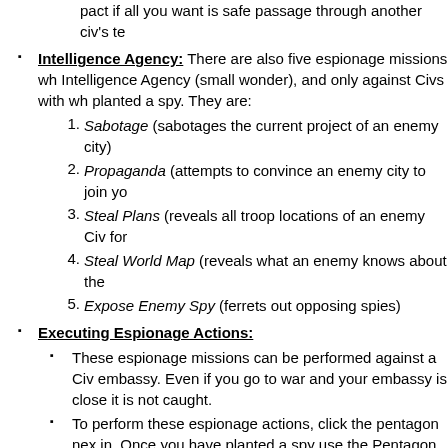pact if all you want is safe passage through another civ's te
Intelligence Agency: There are also five espionage missions wh Intelligence Agency (small wonder), and only against Civs with wh planted a spy. They are:
Sabotage (sabotages the current project of an enemy city)
Propaganda (attempts to convince an enemy city to join yo
Steal Plans (reveals all troop locations of an enemy Civ for
Steal World Map (reveals what an enemy knows about the
Expose Enemy Spy (ferrets out opposing spies)
Executing Espionage Actions:
These espionage missions can be performed against a Civ embassy. Even if you go to war and your embassy is close it is not caught.
To perform these espionage actions, click the pentagon nex in. Once you have planted a spy use the Pentagon icon nea missions.
Now you can also trade with leaders you have already met to gai
If you continually abuse your relationship with other leaders, they negotiations.